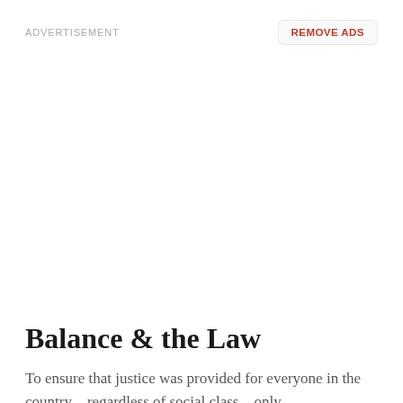ADVERTISEMENT
REMOVE ADS
Balance & the Law
To ensure that justice was provided for everyone in the country – regardless of social class – only